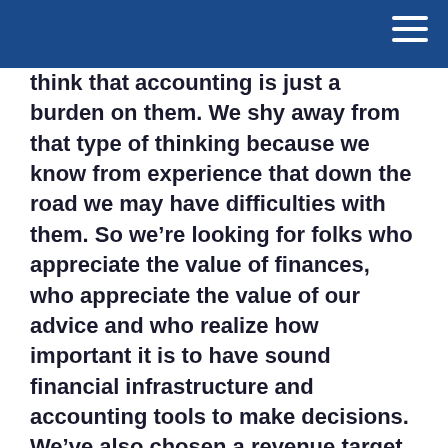think that accounting is just a burden on them. We shy away from that type of thinking because we know from experience that down the road we may have difficulties with them. So we’re looking for folks who appreciate the value of finances, who appreciate the value of our advice and who realize how important it is to have sound financial infrastructure and accounting tools to make decisions. We’ve also chosen a revenue target number, we know that the services we are offering are best suited for the companies that have “x” amount of revenue per year.